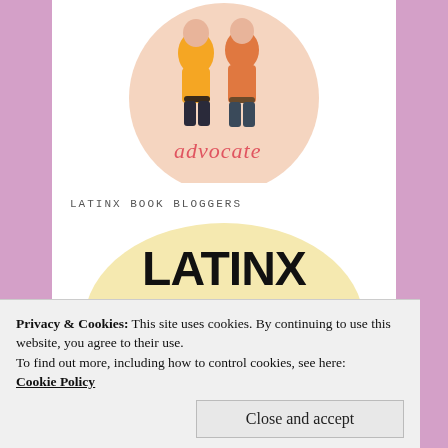[Figure (logo): Partial circular logo at top showing illustrated figures with text 'advocate' visible, partially cropped]
LATINX BOOK BLOGGERS
[Figure (logo): Latinx Book Bloggers Directory logo: bold black text 'LATINX BOOK BLOGGERS' on a pale yellow circle, with italic script 'directory' below]
Privacy & Cookies: This site uses cookies. By continuing to use this website, you agree to their use.
To find out more, including how to control cookies, see here:
Cookie Policy
Close and accept